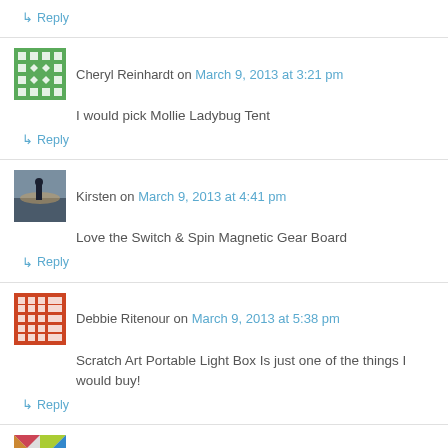Reply
Cheryl Reinhardt on March 9, 2013 at 3:21 pm
I would pick Mollie Ladybug Tent
Reply
Kirsten on March 9, 2013 at 4:41 pm
Love the Switch & Spin Magnetic Gear Board
Reply
Debbie Ritenour on March 9, 2013 at 5:38 pm
Scratch Art Portable Light Box Is just one of the things I would buy!
Reply
Vikki Billings on March 9, 2013 at 7:42 pm